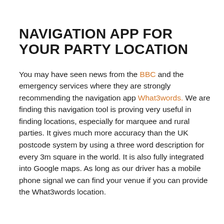NAVIGATION APP FOR YOUR PARTY LOCATION
You may have seen news from the BBC and the emergency services where they are strongly recommending the navigation app What3words. We are finding this navigation tool is proving very useful in finding locations, especially for marquee and rural parties. It gives much more accuracy than the UK postcode system by using a three word description for every 3m square in the world. It is also fully integrated into Google maps. As long as our driver has a mobile phone signal we can find your venue if you can provide the What3words location.